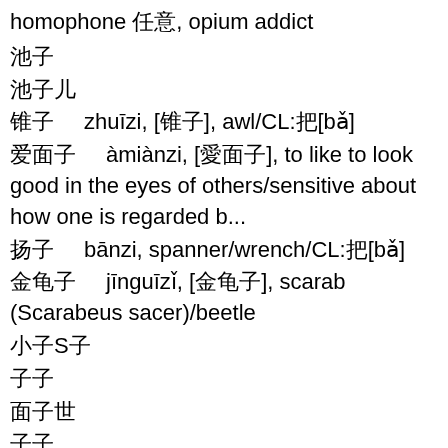homophone ䷿䷿䷿䷿, opium addict
䷿䷿
䷿䷿䷿
䷿䷿   zhuīzi, [䷿䷿], awl/CL:䷿[bǎ]
䷿䷿䷿   àimiànzi, [䷿䷿䷿], to like to look good in the eyes of others/sensitive about how one is regarded b...
䷿䷿   bānzi, spanner/wrench/CL:䷿[bǎ]
䷿䷿䷿   jīnguīzǐ, [䷿䷿䷿], scarab (Scarabeus sacer)/beetle
䷿䷿䷿
䷿䷿
䷿䷿䷿
䷿䷿
䷿䷿䷿䷿
䷿䷿䷿   liàotiāozi, (coll.) to quit one's job in disgust